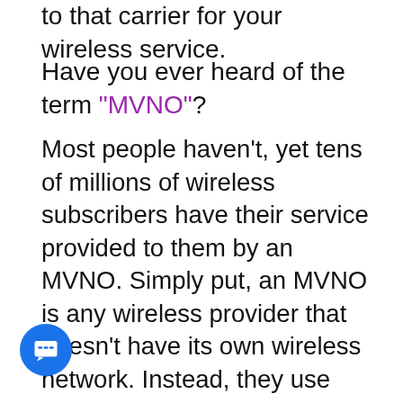to that carrier for your wireless service.
Have you ever heard of the term “MVNO”?
Most people haven’t, yet tens of millions of wireless subscribers have their service provided to them by an MVNO. Simply put, an MVNO is any wireless provider that doesn’t have its own wireless network. Instead, they use another carrier’s network for service. There are literally dozens of providers that use either AT&T’s, T-Mobile’s, or Verizon’s network. Some MVNOs let their customers pick to use any of the three carrier networks for their coverage while others may only offer one